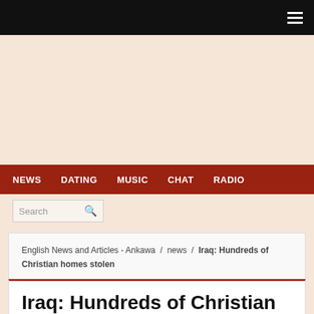NEWS  DATING  MUSIC  CHAT  RADIO
Search
English News and Articles - Ankawa / news / Iraq: Hundreds of Christian homes stolen
Iraq: Hundreds of Christian homes stolen
November 20, 2018    Written by: sabah